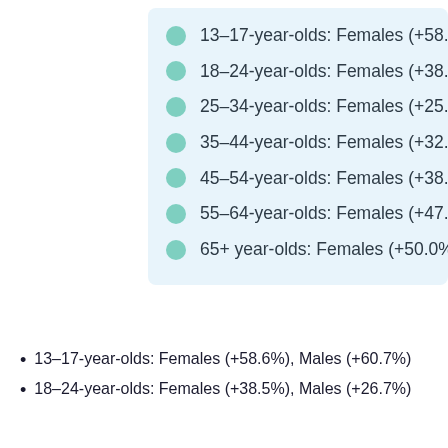13–17-year-olds: Females (+58.
18–24-year-olds: Females (+38.
25–34-year-olds: Females (+25.
35–44-year-olds: Females (+32.
45–54-year-olds: Females (+38.
55–64-year-olds: Females (+47.
65+ year-olds: Females (+50.0%
13–17-year-olds: Females (+58.6%), Males (+60.7%)
18–24-year-olds: Females (+38.5%), Males (+26.7%)